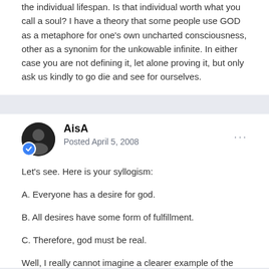the individual lifespan. Is that individual worth what you call a soul? I have a theory that some people use GOD as a metaphore for one's own uncharted consciousness, other as a synonim for the unkowable infinite. In either case you are not defining it, let alone proving it, but only ask us kindly to go die and see for ourselves.
AisA
Posted April 5, 2008
Let's see. Here is your syllogism:
A. Everyone has a desire for god.
B. All desires have some form of fulfillment.
C. Therefore, god must be real.
Well, I really cannot imagine a clearer example of the primacy of consciousness fallacy.